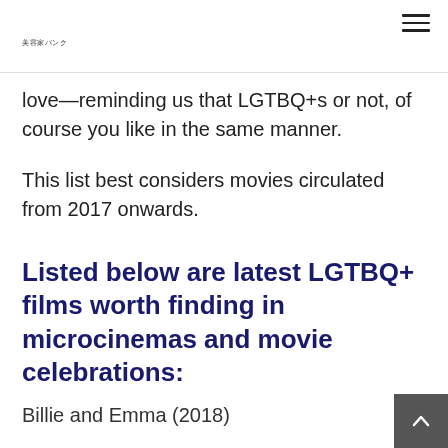美容家バンク
love—reminding us that LGTBQ+s or not, of course you like in the same manner.
This list best considers movies circulated from 2017 onwards.
Listed below are latest LGTBQ+ films worth finding in microcinemas and movie celebrations:
Billie and Emma (2018)